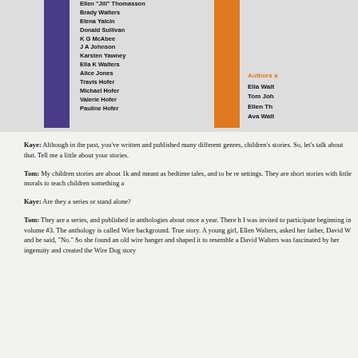[Figure (other): Book cover or anthology panel showing purple and orange vertical bars with a list of author names on the left side, and partial names on the right side with an 'Authors a...' orange label]
Ellen "Jill" Thomasson
Brady Walters
Elena Yalcin
Donald Sullivan
K G McAbee
J A Johnson
Karsten Yawney
Ella K Walters
Alice Jones
Travis Hofer
Michael Hofer
Valerie Hofer
Pauline Hofer
Kaye: Although in the past, you've written and published many different genres, children's stories. So, let's talk about that. Tell me a little about your stories.
Tom: My children stories are about 1k and meant as bedtime tales, and to be re settings. They are short stories with little morals to teach children something a
Kaye: Are they a series or stand alone?
Tom: They are a series, and published in anthologies about once a year. There h I was invited to participate beginning in volume #3. The anthology is called Wire background. True story. A young girl, Ellen Walters, asked her father, David W and he said, "No." So she found an old wire hanger and shaped it to resemble a David Walters was fascinated by her ingenuity and created the Wire Dog story